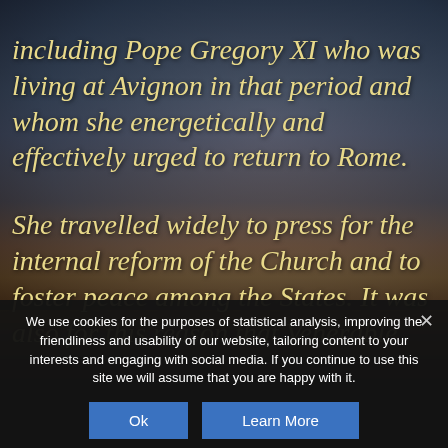including Pope Gregory XI who was living at Avignon in that period and whom she energetically and effectively urged to return to Rome.
She travelled widely to press for the internal reform of the Church and to foster peace among the States. It was also for this reason that Venerable
We use cookies for the purposes of statistical analysis, improving the friendliness and usability of our website, tailoring content to your interests and engaging with social media. If you continue to use this site we will assume that you are happy with it.